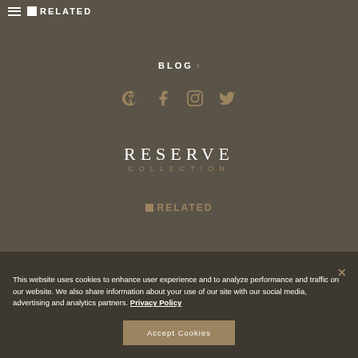≡ RELATED
BLOG >
[Figure (illustration): Social media icons: accessibility, Facebook, Instagram, Twitter in gold/tan color]
[Figure (logo): RESERVE COLLECTION logo in white serif text with gold subtitle]
[Figure (logo): RELATED company logo in gold]
This website uses cookies to enhance user experience and to analyze performance and traffic on our website. We also share information about your use of our site with our social media, advertising and analytics partners. Privacy Policy
Accept Cookies